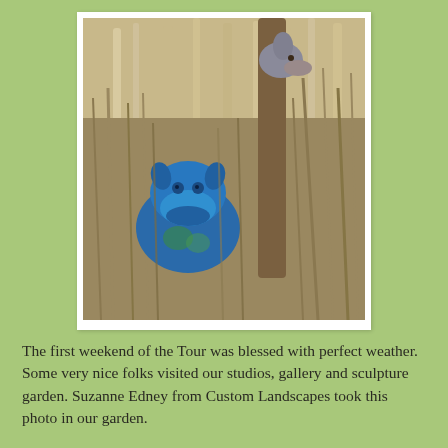[Figure (photo): Two animal sculptures (a blue one resembling a fantastical creature in the foreground and a giraffe-like sculpture in the background) photographed outdoors among tall dried grasses and reeds in a garden setting.]
The first weekend of the Tour was blessed with perfect weather. Some very nice folks visited our studios, gallery and sculpture garden. Suzanne Edney from Custom Landscapes took this photo in our garden.